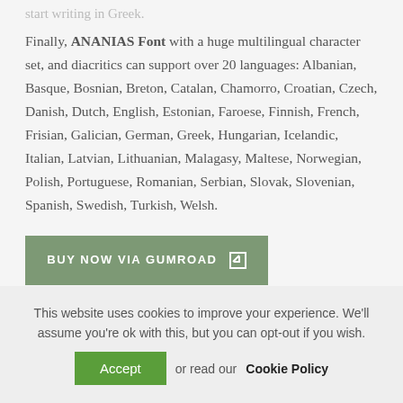start writing in Greek.
Finally, ANANIAS Font with a huge multilingual character set, and diacritics can support over 20 languages: Albanian, Basque, Bosnian, Breton, Catalan, Chamorro, Croatian, Czech, Danish, Dutch, English, Estonian, Faroese, Finnish, French, Frisian, Galician, German, Greek, Hungarian, Icelandic, Italian, Latvian, Lithuanian, Malagasy, Maltese, Norwegian, Polish, Portuguese, Romanian, Serbian, Slovak, Slovenian, Spanish, Swedish, Turkish, Welsh.
[Figure (other): Green button labeled 'BUY NOW VIA GUMROAD' with external link icon]
I hope you make something cool with it! Enjoy,
This website uses cookies to improve your experience. We'll assume you're ok with this, but you can opt-out if you wish.
Accept or read our Cookie Policy